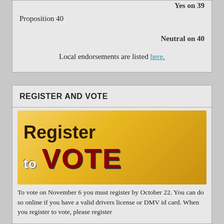Yes on 39
Proposition 40
Neutral on 40
Local endorsements are listed here.
REGISTER AND VOTE
[Figure (illustration): Register to VOTE banner image with gold/yellow background, dark brown 'Register' text and dark red 'VOTE' text]
To vote on November 6 you must register by October 22. You can do so online if you have a valid drivers license or DMV id card. When you register to vote, please register